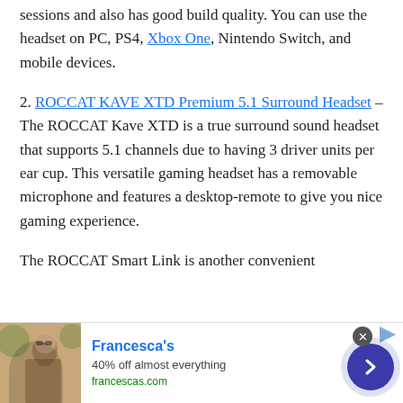...is comfortable to wear even for long gaming sessions and also has good build quality. You can use the headset on PC, PS4, Xbox One, Nintendo Switch, and mobile devices.
2. ROCCAT KAVE XTD Premium 5.1 Surround Headset – The ROCCAT Kave XTD is a true surround sound headset that supports 5.1 channels due to having 3 driver units per ear cup. This versatile gaming headset has a removable microphone and features a desktop-remote to give you nice gaming experience.
The ROCCAT Smart Link is another convenient...
[Figure (other): Advertisement banner for Francesca's: '40% off almost everything', francescas.com, with a photo of a person and a blue circular call-to-action arrow button]